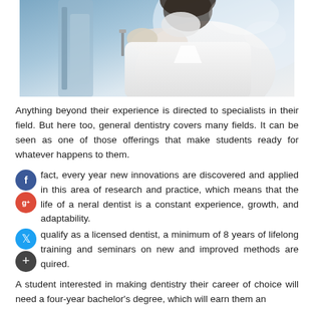[Figure (photo): Dentist in white coat working on a patient, close-up clinical setting]
Anything beyond their experience is directed to specialists in their field. But here too, general dentistry covers many fields. It can be seen as one of those offerings that make students ready for whatever happens to them.
fact, every year new innovations are discovered and applied in this area of research and practice, which means that the life of a neral dentist is a constant experience, growth, and adaptability.
qualify as a licensed dentist, a minimum of 8 years of lifelong training and seminars on new and improved methods are quired.
A student interested in making dentistry their career of choice will need a four-year bachelor's degree, which will earn them an